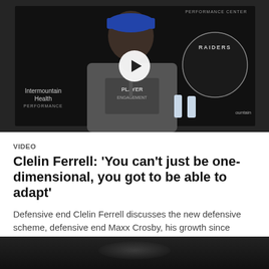[Figure (photo): Press conference photo of Clelin Ferrell, a Raiders defensive end, smiling while standing at a podium. He wears a blue cap and a gray Raiders t-shirt. The backdrop shows Intermountain Health Performance Center and Raiders logos. A video play button overlay is visible in the center.]
VIDEO
Clelin Ferrell: 'You can't just be one-dimensional, you got to be able to adapt'
Defensive end Clelin Ferrell discusses the new defensive scheme, defensive end Maxx Crosby, his growth since entering the league and more.
[Figure (photo): Dark/black partial thumbnail of a second video item, partially visible at bottom of page.]